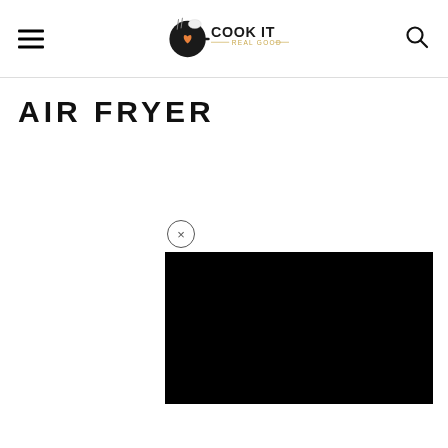Cook It Real Good
AIR FRYER
[Figure (screenshot): Video popup with a black video player and a close (x) button above it]